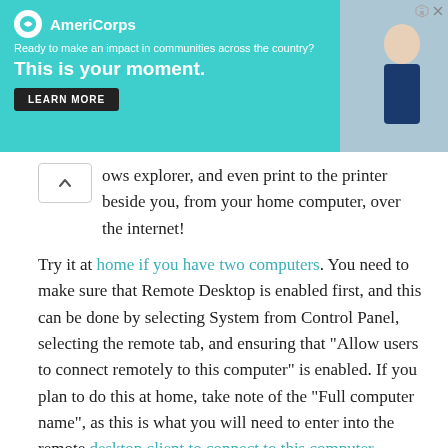[Figure (other): AmeriCorps advertisement banner with teal background, logo, tagline, headline 'This is your moment.', LEARN MORE button, and a photo of a person]
ows explorer, and even print to the printer beside you, from your home computer, over the internet!
Try it at home if you have two computers. You need to make sure that Remote Desktop is enabled first, and this can be done by selecting System from Control Panel, selecting the remote tab, and ensuring that “Allow users to connect remotely to this computer” is enabled. If you plan to do this at home, take note of the “Full computer name”, as this is what you will need to enter into the remote desktop client to connect to this computer.
I know you are worried about security at this point, but don’t worry – we’ll address that later.